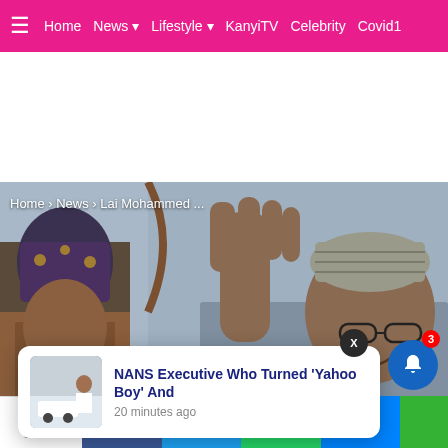Home  News ▾  Lifestyle ▾  KanyiTV  Celebrity  Covid19
[Figure (screenshot): White advertisement space]
[Figure (photo): Photo of a smiling man in grey attire and traditional cap waving his hand, with another man in blue patterned cap visible on the left]
Home › News › Lai Mohammed ...
[Figure (photo): Thumbnail of a young man standing near a car]
NANS Executive Who Turned 'Yahoo Boy' And
20 minutes ago
Shares